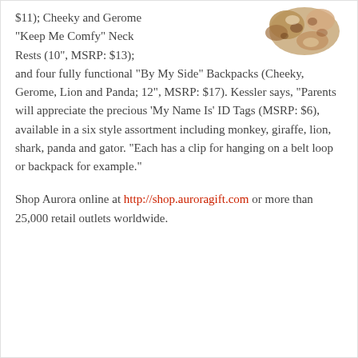[Figure (photo): Photo of a stuffed animal toy (brown/tan plush animal) in upper right corner of the page]
$11); Cheeky and Gerome "Keep Me Comfy" Neck Rests (10", MSRP: $13); and four fully functional "By My Side" Backpacks (Cheeky, Gerome, Lion and Panda; 12", MSRP: $17). Kessler says, "Parents will appreciate the precious 'My Name Is' ID Tags (MSRP: $6), available in a six style assortment including monkey, giraffe, lion, shark, panda and gator. "Each has a clip for hanging on a belt loop or backpack for example."
Shop Aurora online at http://shop.auroragift.com or more than 25,000 retail outlets worldwide.